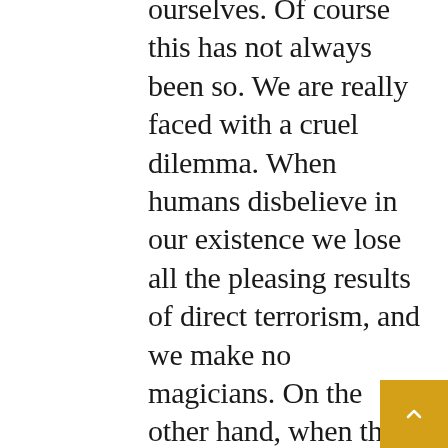ourselves. Of course this has not always been so. We are really faced with a cruel dilemma. When humans disbelieve in our existence we lose all the pleasing results of direct terrorism, and we make no magicians. On the other hand, when they believe in us, we cannot make them materialists and skeptics. At least, not